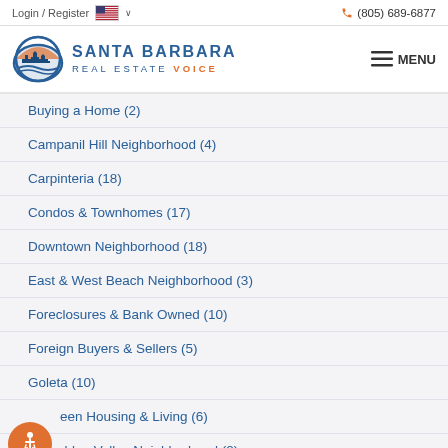Login / Register   🇺🇸 ∨       📞 (805) 689-6877
[Figure (logo): Santa Barbara Real Estate Voice logo with circular city skyline icon and text]
Buying a Home  (2)
Campanil Hill Neighborhood  (4)
Carpinteria  (18)
Condos & Townhomes  (17)
Downtown Neighborhood  (18)
East & West Beach Neighborhood  (3)
Foreclosures & Bank Owned  (10)
Foreign Buyers & Sellers  (5)
Goleta  (10)
Green Housing & Living  (6)
Hidden Valley Neighborhood  (2)